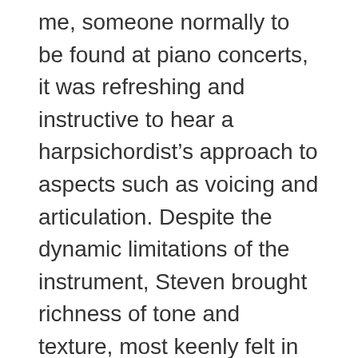me, someone normally to be found at piano concerts, it was refreshing and instructive to hear a harpsichordist's approach to aspects such as voicing and articulation. Despite the dynamic limitations of the instrument, Steven brought richness of tone and texture, most keenly felt in an uplifting performance of the Italian Concerto BWV 971.
Kate's soprano voice is warm, expressive and colourful with clear diction and fine sense of drama and contrast. There was a lovely sense of synergy and understanding between these two musicians which highlighted the intimacy